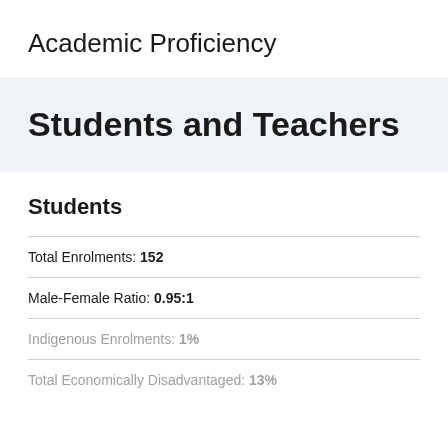Academic Proficiency
Students and Teachers
Students
Total Enrolments: 152
Male-Female Ratio: 0.95:1
Indigenous Enrolments: 1%
Total Economically Disadvantaged: 13%